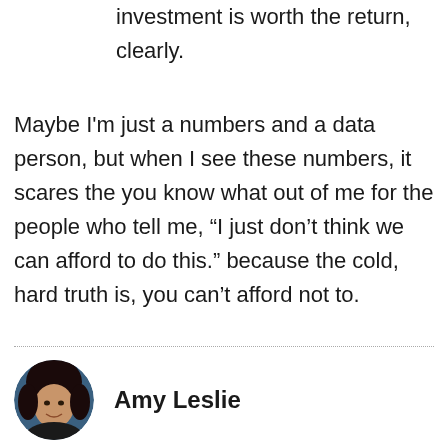investment is worth the return, clearly.
Maybe I'm just a numbers and a data person, but when I see these numbers, it scares the you know what out of me for the people who tell me, “I just don’t think we can afford to do this.” because the cold, hard truth is, you can’t afford not to.
Amy Leslie